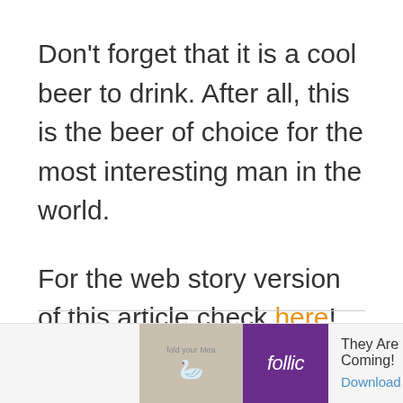Don't forget that it is a cool beer to drink. After all, this is the beer of choice for the most interesting man in the world.
For the web story version of this article check here!
← Previous
Next Post →
[Figure (other): Ad banner at the bottom showing Follic app advertisement with 'They Are Coming!' text and a Download link.]